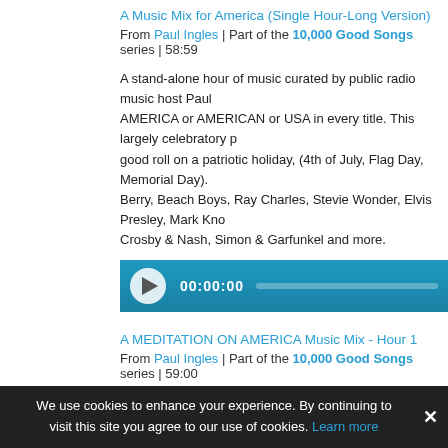A Music Mix for America (Single Hour-Long Version)
From Paul Ingles | Part of the 10,000 Good Songs series | 58:59
A stand-alone hour of music curated by public radio music host Paul AMERICA or AMERICAN or USA in every title. This largely celebratory p good roll on a patriotic holiday, (4th of July, Flag Day, Memorial Day). Berry, Beach Boys, Ray Charles, Stevie Wonder, Elvis Presley, Mark Kno Crosby & Nash, Simon & Garfunkel and more.
[Figure (screenshot): Audio player bar with play button, time display 00:00:00, and progress bar]
A MEDITATION ON AMERICA Music Mix - Hour 1
From Paul Ingles | Part of the 10,000 Good Songs series | 59:00
First of 3 music mix hours featuring a host of performers expressing t in America - in songs that both celebrate what is good and noble abo offering up a critique of how our nation must do better. Artists includ John Mellencamp, Jackson Browne, Lenny Kravitz, Stevie Wonder, The Tom Petty, James Brown, Ray Charles and more.
[Figure (screenshot): Partial audio player bar with play button visible at bottom]
We use cookies to enhance your experience. By continuing to visit this site you agree to our use of cookies. Learn more